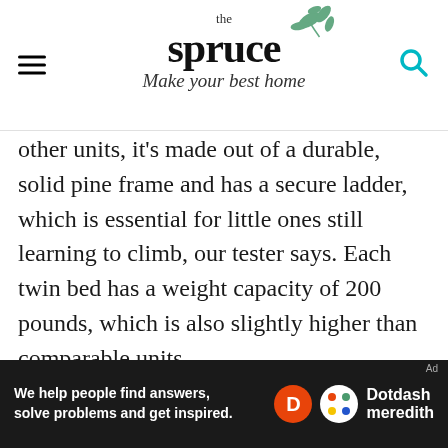the spruce — Make your best home
other units, it's made out of a durable, solid pine frame and has a secure ladder, which is essential for little ones still learning to climb, our tester says. Each twin bed has a weight capacity of 200 pounds, which is also slightly higher than comparable units.
Our tester was particularly fond of the timeless look and affordability of the bunk beds. She said that although she loved the design of the bed, it took almost four hours for her and her partner to piece it together. Our tester suggested having
[Figure (logo): Dotdash Meredith advertisement banner: 'We help people find answers, solve problems and get inspired.']